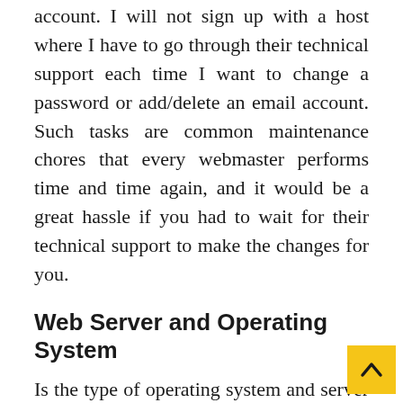account. I will not sign up with a host where I have to go through their technical support each time I want to change a password or add/delete an email account. Such tasks are common maintenance chores that every webmaster performs time and time again, and it would be a great hassle if you had to wait for their technical support to make the changes for you.
Web Server and Operating System
Is the type of operating system and server important?
In general, most people will want to sign up for a web host offering a Unix-based system